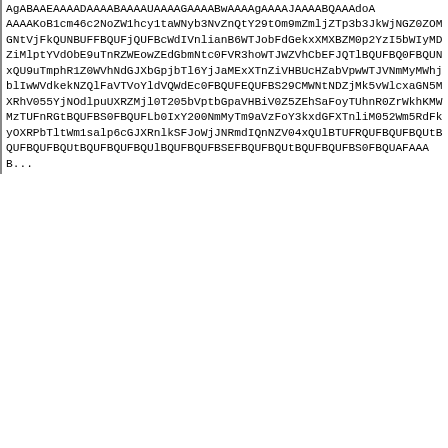AgABAAEAAAADAAAABAAAAUAAAAGAAAABwAAAAgAAAAJAAAABQAAAdoAAAAAAAAKoB1cm46c2NoZW1hcy1taWNyb3NvZnQtY29tOm9mZmljZTp3b3JkWjNGZ0ZOMGNtVjFkQUNBUFFBQUFjQUFBcWdIVnlianB6WTJobFdGekxXMXBZM0p2YzI5bWIyMDZiMlptYVdObE9uTnRZWEowZEdGbmNtc0FVR3hoWTJWZVhCbEFJQTlBQUFBQ0FBQUNxQU9uTmphR1Z0WVhNdGJXbGpjbTl6YjJaMExXTnZiVHBUcHZabVpwWTJVNmMyMWhjblIwWVdkekNZQlFaVTVoYldVQWdEc0AAAAAAAADAAAAKoB1cm46c2NoZW1hcy1taWNyb3NvZnQtY29tOm9mZmljZTp3b3JkWm1salp0cGJXRnlkSFJoWjNNSGdHRmtaSEoxYzNNQWdEa0FBQUFLQUFBQUtvQjFjbTQ2YzJOb1pXMWhjeTF0YVdOeWIzTnZablF0WTI5dE9tOW1abWxqWlRwYldGeWRIUmhaMk1GZ0hCc1lXTjFBSUFNQVFBQUFBQUFBS0FBQUFBQUFBS0FBQUFBQUFBQUlBQUFBQUFBSEFBQUFBQUtBQUFBQUFBS0FBQUAAAAAAAAAAAAAAANAAAAAAAAAAAAAAAAAAAAAAAAAAAAAAAAAAAAAAAAAAAAAAAAAAAAAAAAAAAAAAAAAAAAAAAAAAAAAAAAAAAAAAAAAAAAAAAAAAAAAAAAAAAAAAAAAAAAAAAAAAAAAAAAAAAAAAAAAAAAAAAAAAAAAAAAAAAAAAAAAAAAAAAAAAAAAAAAAAAAAAAAAAAAAAAAAAAAAAAAAAAAAAAAAAAAAAAAAAAAAAAAAAAAAAAAAAAAAAAAAAAAAAAAAAAAAAAAAAAAAAAAAAAAAAAAAAAAAAAAAAAAAAAAAAAAAAAAAAAAAAAAAAAAAAAAAAAAAAAAAAAAAAAAAAAAAAAAAAAAAAAAAAAAAAAAAAAAAAAAAAAAAAAAAAAAAAAAAAAAAAAAAAAAAAAAAAAAAAAAAAAAAAAAAAAAAAAAAAAAAAAAAAAAAAAAAAAAAAAAAAAAAAAAAAAAAAAAAAAAAAAAAAAAAAAAAAAAAAAAAAAAAAAAAAAAAAAAAAAAAAAAAAAAAAAAAAAAAAAAAAAAAAAAAAAAAAAAAAAAAAAAAAAAAAAAAAAAAAAAAAAAAAAAAAAAAAAAAAAAAAAAAAAAAAAAAAAAAAAAAAAAAAAAAAAAAAAAAAAAAAAAAAAAAAAAAAAAAAAAAAAAAAAAAAAAAAAAAAAAAAAAAAAAAAAAAAAAAAAAAAAAAAAAAAAAAAAAAAAAAAAAAAAAAAAAAAAAAAAAAAAAAAAAAAAAAAAAAAAAAAAAAAAAAAAAAAAAAAAAAAAAAAAAAAAAAAAAAAAAAAAAAAAAAAAAAAAAAAAAAAAAAAAAAAAAAAAAAAAAAAAAAAAAAAAAAAAAAAAAAAAAAAAAAAAAAAAAAAAAAAAAAAAAAAAAAAAAAAAAAAAAAAAAAAAAAAAAAAAAAAAAAAAAAAAAAAAAAAAAAAAAAAAAAAAAAAAAAAAAAAAAAAAAAAAAAAAAAAAAAAAAAAAAAAAAAAAAAAAAAAAAAAAAAAAAAAAAAAAAAAAAAAAAAAAAAAAAAAAAAAAAAAAAAAAAAAAAAAAAAAAAAAAAAAAAAAAAAAAAAAAAAAAAAAAAAAAAAAAAAAAAAAAAAAAAAAAAAAAAAAAAAAAAAAAAAAAAAAAAAAAAAAAAAAAAAAAAAAAAAAAAAAAAAAAAAAAAAAAAAAAAAAAAAAAAAAAAAAAAAAAAAAAAAAAAAAAAAAAAAAAAAAAAAAAAAAAAAAAAAAAAAAAAAAAAAAAAAAAAAAAAAAAAAAAAAAAAAAAAAAAAAAAAAAAAAAAAAAAAAAAAAAAAAAAAAAAAAAAAAAAAAAAAAAAAAAAAAAAAAAAAAAAAAAAAAAAAAAAAAAAAAAAAAAAAAAAAAAAAAAAAAAAAAAAAAAAAAAAAAAAAAAAAAAAAAAAAAAAAAAAAAAAAAAAAAAAAAAAAAAAAAAAAAAAAAAAAAAAAAAAAAAAAAAAAAAAAAAAAAAAAAAAAAAAAAAAAAAAAAAAAAAAAAAAAAAAAAAAAAAAAAAAAAAAAAAAAAAAAAAAAAAAAAAAAAAAAAAAAAAAAAAAAAAAAAAAAAAAAAAAAAAAAAAAAAAAAAAAAAAAAAAAAAAAAAAAAAAAAAAAAAAAAAAAAAAAAAAAAAAAAAAAAAAAAAAAAAAAAAAAAAAAAAAAAAAAAAAAAAAAAAAAAAAAAAAAAAAAAAAAAAAAAAAAAAAAAAAAAAAAAAAAAAAAAAAAAAAAAAAAAAAAAAAAAAAAAAAAAAAAAAAAAAAAAAAAAAAAAAAAAAAAAAAAAAAAAAAAAAAAAAA